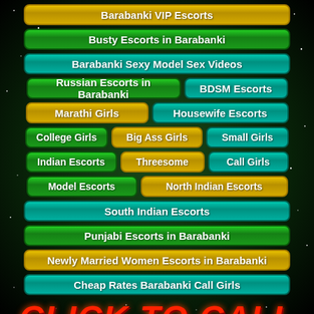Barabanki VIP Escorts
Busty Escorts in Barabanki
Barabanki Sexy Model Sex Videos
Russian Escorts in Barabanki
BDSM Escorts
Marathi Girls
Housewife Escorts
College Girls
Big Ass Girls
Small Girls
Indian Escorts
Threesome
Call Girls
Model Escorts
North Indian Escorts
South Indian Escorts
Punjabi Escorts in Barabanki
Newly Married Women Escorts in Barabanki
Cheap Rates Barabanki Call Girls
CLICK TO CALL